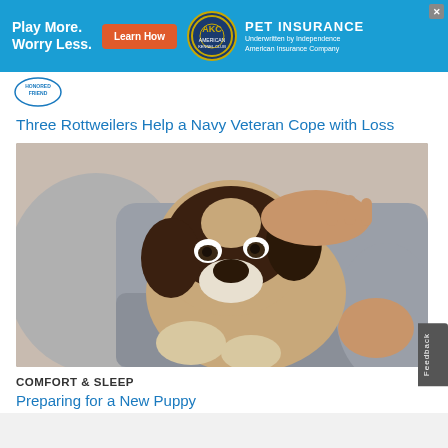[Figure (infographic): AKC Pet Insurance advertisement banner with blue background. Text reads 'Play More. Worry Less.' with an orange 'Learn How' button, AKC circular logo, and 'PET INSURANCE Underwritten by Independence American Insurance Company' text.]
[Figure (logo): Small oval logo with text, likely AKC or related organization]
Three Rottweilers Help a Navy Veteran Cope with Loss
[Figure (photo): A beagle puppy being held by a person wearing a grey sweater. The puppy is looking at the camera with large eyes.]
COMFORT & SLEEP
Preparing for a New Puppy